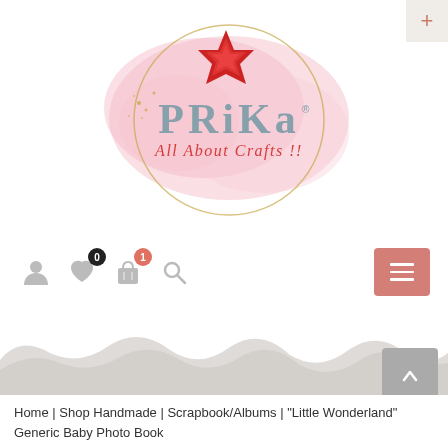[Figure (logo): Prika 'All About Crafts!!' logo with pink watercolor splash background, gold circle, red star flower, and stylized text]
[Figure (screenshot): Website navigation bar with user icon, heart icon with badge 0, shopping bag icon with badge 1, search icon, and hamburger menu button in salmon/rose color]
[Figure (illustration): Torn gray paper decorative divider element at bottom of header]
Home | Shop Handmade | Scrapbook/Albums | "Little Wonderland" Generic Baby Photo Book